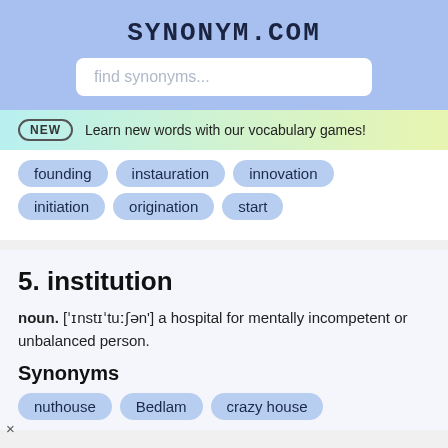SYNONYM.COM
find synonyms...
NEW  Learn new words with our vocabulary games!
founding
instauration
innovation
initiation
origination
start
5. institution
noun. [ˈɪnstɪˈtuːʃən'] a hospital for mentally incompetent or unbalanced person.
Synonyms
nuthouse
Bedlam
crazy house